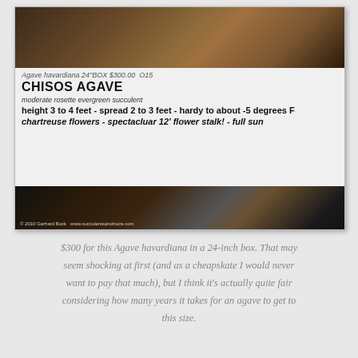[Figure (photo): Photo of a plant nursery label for Agave havardiana in a 24-inch box priced at $300.00. The label reads: Agave havardiana 24"BOX $300.00 O15 / CHISOS AGAVE / moderate rosette evergreen succulent / height 3 to 4 feet - spread 2 to 3 feet - hardy to about -5 degrees F / chartreuse flowers - spectacluar 12' flower stalk! - full sun. Photo credit: © 2010 Gerhard Bock www.succulentsandmore.com]
$300 for this Agave havardiana in a 24-inch box. That may seem shocking at first (and as a cheapskate I would never want to pay that much), but I think it's actually quite fair considering how many years it takes for an agave to get to this size.